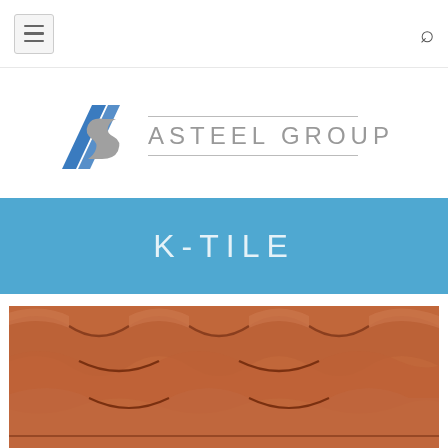[Figure (logo): Asteel Group logo with stylized angular 'A' and 'S' graphic in blue and grey, followed by text 'ASTEEL GROUP' with horizontal lines above and below]
K-TILE
[Figure (photo): Close-up photo of terracotta/brown metal tile roofing panels with curved wave profile, showing overlapping K-Tile roofing sheets]